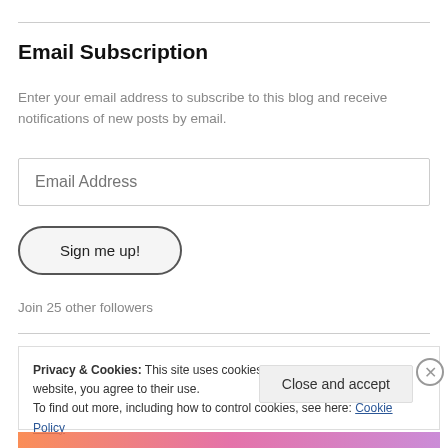Email Subscription
Enter your email address to subscribe to this blog and receive notifications of new posts by email.
Email Address
Sign me up!
Join 25 other followers
Privacy & Cookies: This site uses cookies. By continuing to use this website, you agree to their use.
To find out more, including how to control cookies, see here: Cookie Policy
Close and accept